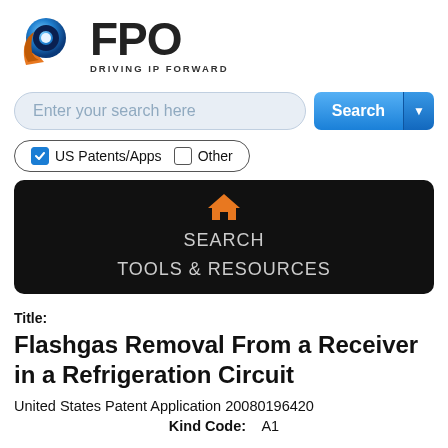[Figure (logo): FPO logo with circular blue and orange icon and text 'FPO DRIVING IP FORWARD']
[Figure (screenshot): Search bar with placeholder 'Enter your search here' and blue Search button with dropdown arrow]
[Figure (screenshot): Checkbox filter row with 'US Patents/Apps' checked and 'Other' unchecked inside a pill border]
[Figure (screenshot): Black navigation bar with orange home icon, SEARCH link, and TOOLS & RESOURCES link]
Title:
Flashgas Removal From a Receiver in a Refrigeration Circuit
United States Patent Application 20080196420
Kind Code:  A1